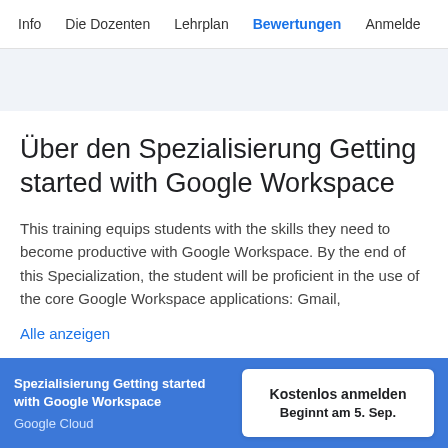Info | Die Dozenten | Lehrplan | Bewertungen | Anmelde
Über den Spezialisierung Getting started with Google Workspace
This training equips students with the skills they need to become productive with Google Workspace. By the end of this Specialization, the student will be proficient in the use of the core Google Workspace applications: Gmail,
Alle anzeigen
Spezialisierung Getting started with Google Workspace
Google Cloud
Kostenlos anmelden
Beginnt am 5. Sep.